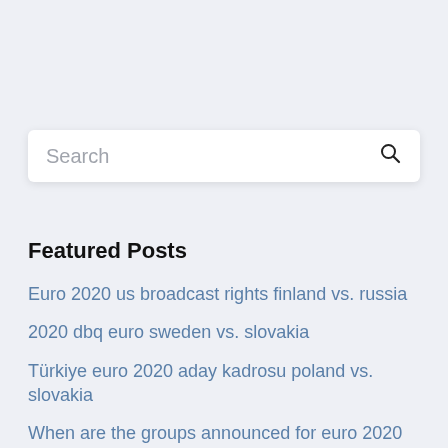Search
Featured Posts
Euro 2020 us broadcast rights finland vs. russia
2020 dbq euro sweden vs. slovakia
Türkiye euro 2020 aday kadrosu poland vs. slovakia
When are the groups announced for euro 2020 spain vs. poland